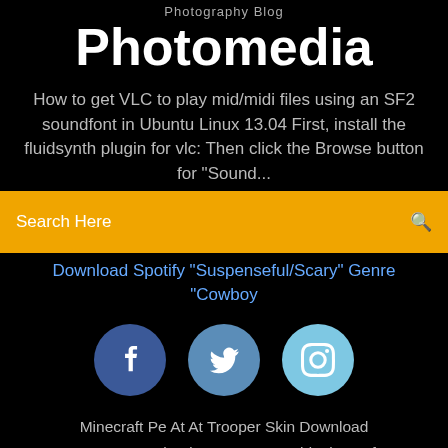Photography Blog
Photomedia
How to get VLC to play mid/midi files using an SF2 soundfont in Ubuntu Linux 13.04 First, install the fluidsynth plugin for vlc: Then click the Browse button for "Sound...
Search Here
Download Spotify "Suspenseful/Scary" Genre "Cowboy
[Figure (infographic): Three social media icons (Facebook, Twitter, Instagram) as colored circles with white icons]
Minecraft Pe At At Trooper Skin Download
How To Download My Server World Minecraft
Grays Basic Anatomy Pdf Free Download
How To Download World In Minecraft...